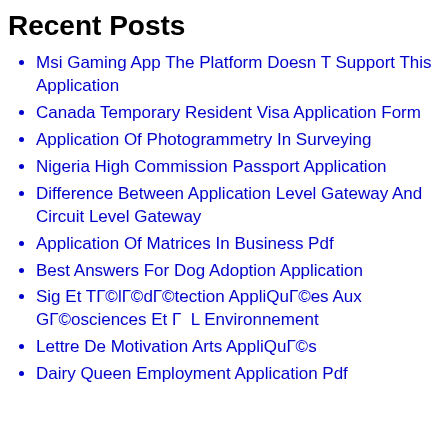Recent Posts
Msi Gaming App The Platform Doesn T Support This Application
Canada Temporary Resident Visa Application Form
Application Of Photogrammetry In Surveying
Nigeria High Commission Passport Application
Difference Between Application Level Gateway And Circuit Level Gateway
Application Of Matrices In Business Pdf
Best Answers For Dog Adoption Application
Sig Et TГ©lГ©dГ©tection AppliQuГ©es Aux GГ©osciences Et Г  L Environnement
Lettre De Motivation Arts AppliQuГ©s
Dairy Queen Employment Application Pdf